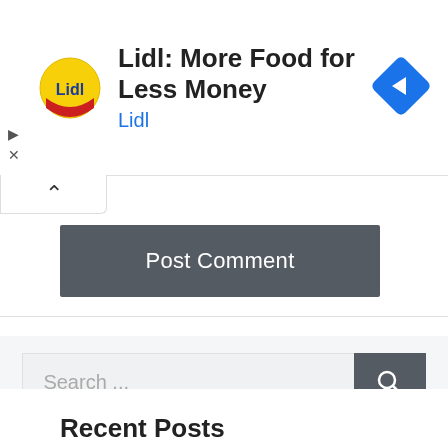[Figure (screenshot): Lidl advertisement banner with Lidl logo (yellow circle with red Lidl text), heading 'Lidl: More Food for Less Money', subtext 'Lidl' in blue, and a blue navigation arrow icon on the right. Play and close (X) buttons on the left edge.]
[Figure (screenshot): Collapse/expand tab with an up-caret (^) arrow, indicating a collapsible panel.]
[Figure (screenshot): Dark grey 'Post Comment' button.]
[Figure (screenshot): Search bar with placeholder text 'Search ...' and a dark grey search button with a magnifying glass icon.]
Recent Posts